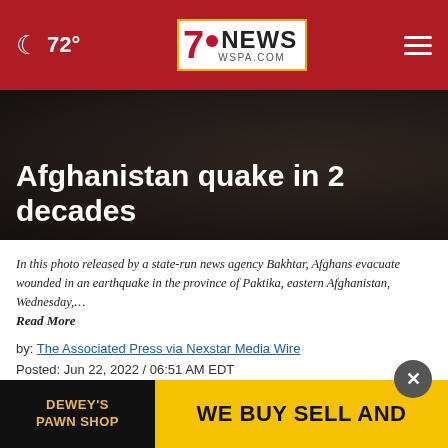☾ 72° | 7NEWS WSPA.COM
Afghanistan quake in 2 decades
In this photo released by a state-run news agency Bakhtar, Afghans evacuate wounded in an earthquake in the province of Paktika, eastern Afghanistan, Wednesday,… Read More
by: The Associated Press via Nexstar Media Wire
Posted: Jun 22, 2022 / 06:51 AM EDT
Updated: Jun 22, 2022 / 02:56 PM EDT
SHARE
KABU... ke struck a rural, mountainous region of eastern
[Figure (other): Advertisement banner: Dewey's Pawn Shop / WE BUY SELL AND]